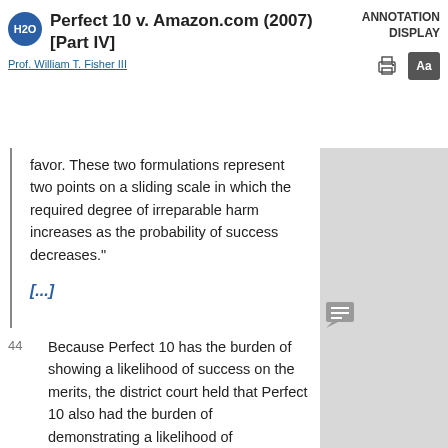Perfect 10 v. Amazon.com (2007) [Part IV] — Prof. William T. Fisher III — ANNOTATION DISPLAY
favor. These two formulations represent two points on a sliding scale in which the required degree of irreparable harm increases as the probability of success decreases."
[...]
44 Because Perfect 10 has the burden of showing a likelihood of success on the merits, the district court held that Perfect 10 also had the burden of demonstrating a likelihood of overcoming Google's fair use defense under 17 U.S.C. § 107. [...] This ruling was erroneous. At trial, the defendant...